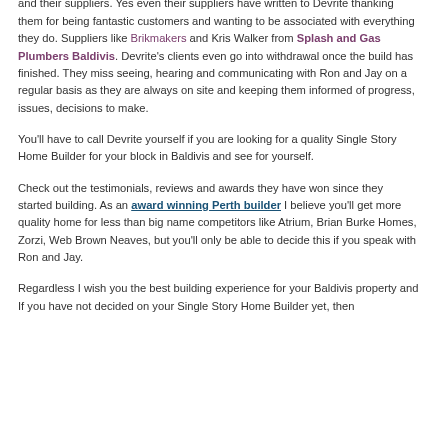after they had moved in.
What makes building with Devrite Homes of Distinction such a special experience whether it be in Baldivis or South Perth .  The magic has to be the way Jay and Ron treat the clients, their client's neighbours, their tradespeople and their suppliers.  Yes even their suppliers have written to Devrite thanking them for being fantastic customers and wanting to be associated with everything they do.  Suppliers like Brikmakers and Kris Walker from Splash and Gas Plumbers Baldivis.  Devrite's clients even go into withdrawal once the build has finished.  They miss seeing, hearing and communicating with Ron and Jay on a regular basis as they are always on site and keeping them informed of progress, issues, decisions to make.
You'll have to call Devrite yourself if you are looking for a quality Single Story Home Builder for your block in Baldivis and see for yourself.
Check out the testimonials, reviews and awards they have won since they started building.  As an award winning Perth builder I  believe you'll get more quality home for less than big name competitors like Atrium, Brian Burke Homes, Zorzi, Web Brown Neaves, but you'll only be able to decide this if you speak with Ron and Jay.
Regardless I wish you the best building experience for your Baldivis property and If you have not decided on your Single Story Home Builder yet, then